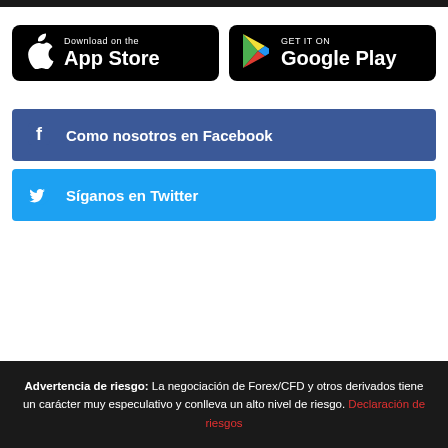[Figure (other): App Store download button - black rounded rectangle with Apple logo and 'Download on the App Store' text]
[Figure (other): Google Play download button - black rounded rectangle with Google Play logo and 'GET IT ON Google Play' text]
[Figure (other): Facebook social button - blue rectangle with Facebook 'f' icon and 'Como nosotros en Facebook' text]
[Figure (other): Twitter social button - light blue rectangle with Twitter bird icon and 'Síganos en Twitter' text]
Advertencia de riesgo: La negociación de Forex/CFD y otros derivados tiene un carácter muy especulativo y conlleva un alto nivel de riesgo. Declaración de riesgos